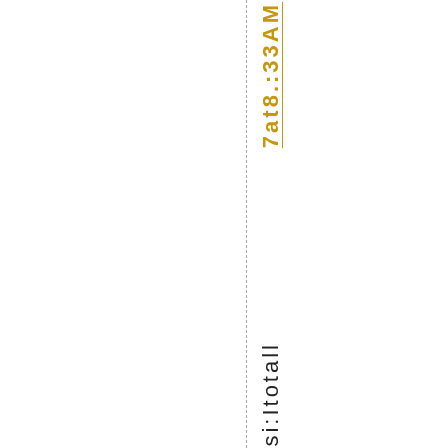7at8.:33AM
DrAndreaRossi:Itotall